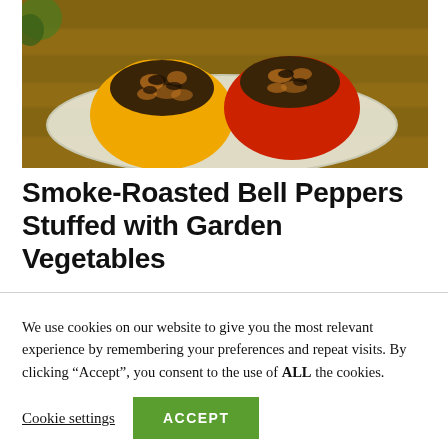[Figure (photo): Photo of two stuffed bell peppers (one yellow, one red) filled with a dark vegetable and meat mixture, placed on a white plate on a wooden surface.]
Smoke-Roasted Bell Peppers Stuffed with Garden Vegetables
We use cookies on our website to give you the most relevant experience by remembering your preferences and repeat visits. By clicking “Accept”, you consent to the use of ALL the cookies.